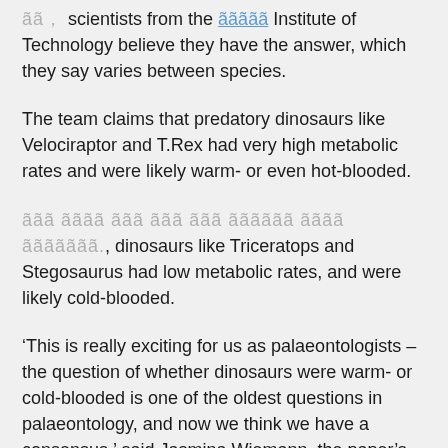scientists from the [link: Institute of Technology] believe they have the answer, which they say varies between species.
The team claims that predatory dinosaurs like Velociraptor and T.Rex had very high metabolic rates and were likely warm- or even hot-blooded.
[obscured text], dinosaurs like Triceratops and Stegosaurus had low metabolic rates, and were likely cold-blooded.
‘This is really exciting for us as palaeontologists – the question of whether dinosaurs were warm- or cold-blooded is one of the oldest questions in palaeontology, and now we think we have a consensus,’ said Jasmina Wiemann, the paper’s lead author.